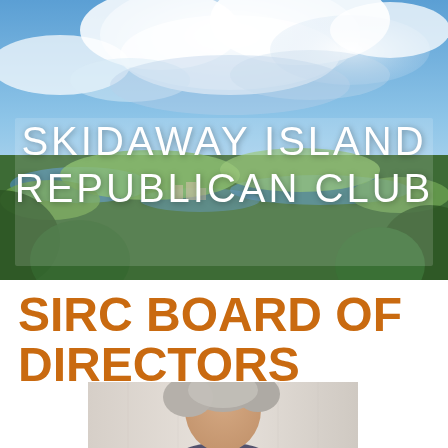[Figure (photo): Aerial/landscape photo of Skidaway Island with blue sky, white clouds, marshes, water, and trees with buildings in distance. White semi-transparent overlay panel with the text SKIDAWAY ISLAND REPUBLICAN CLUB in white letters.]
SKIDAWAY ISLAND REPUBLICAN CLUB
SIRC BOARD OF DIRECTORS
[Figure (photo): Partial photo of a person (head and shoulders) with grey/white hair, cropped at bottom of page.]